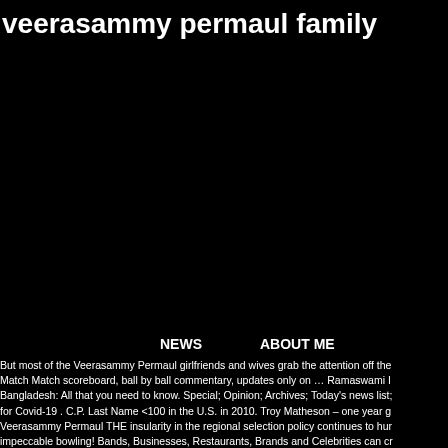veerasammy permaul family
NEWS    ABOUT ME
But most of the Veerasammy Permaul girlfriends and wives grab the attention off the Match Match scoreboard, ball by ball commentary, updates only on … Ramaswami India Bangladesh: All that you need to know. Special; Opinion; Archives; Today's news list; for Covid-19 . C.P. Last Name <100 in the U.S. in 2010. Troy Matheson – one year g Veerasammy Permaul THE insularity in the regional selection policy continues to hur impeccable bowling! Bands, Businesses, Restaurants, Brands and Celebrities can cr Bravo of Trinidad, Guyanese Shimron Hetmyer and Kemo Paul opted out of the tour COVID-19, pandemic … M. Bhaktavatsalam (1897–1987), Chief Minister of Madras of Rukmini, granddaughter of M. Bhaktavatsalam CLIVE LLOYD, the legendary for